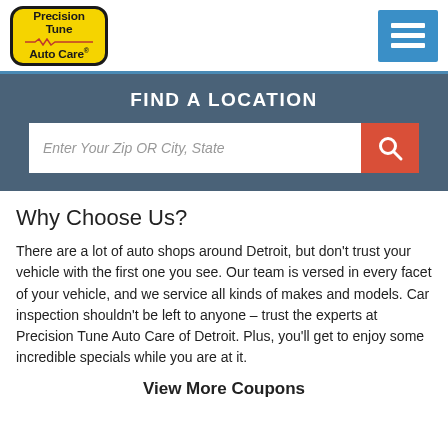[Figure (logo): Precision Tune Auto Care logo - yellow rounded rectangle with black text and heartbeat line]
[Figure (other): Blue hamburger menu button with three white horizontal lines]
FIND A LOCATION
[Figure (other): Search bar with placeholder 'Enter Your Zip OR City, State' and a red search button with magnifying glass icon]
Why Choose Us?
There are a lot of auto shops around Detroit, but don't trust your vehicle with the first one you see. Our team is versed in every facet of your vehicle, and we service all kinds of makes and models. Car inspection shouldn't be left to anyone – trust the experts at Precision Tune Auto Care of Detroit. Plus, you'll get to enjoy some incredible specials while you are at it.
View More Coupons